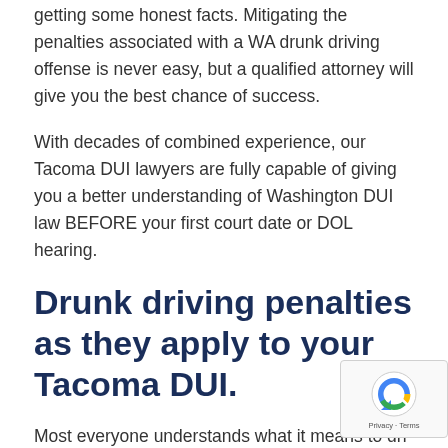getting some honest facts. Mitigating the penalties associated with a WA drunk driving offense is never easy, but a qualified attorney will give you the best chance of success.
With decades of combined experience, our Tacoma DUI lawyers are fully capable of giving you a better understanding of Washington DUI law BEFORE your first court date or DOL hearing.
Drunk driving penalties as they apply to your Tacoma DUI.
Most everyone understands what it means to drive under the influence (DUI), but few have an